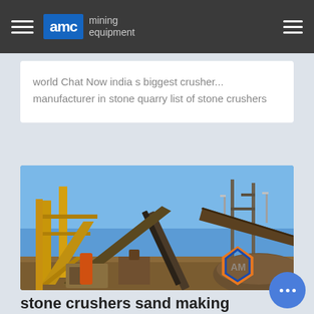AMC mining equipment
world Chat Now india s biggest crusher... manufacturer in stone quarry list of stone crushers
[Figure (photo): Outdoor mining equipment with conveyor belts, structural steel frames, and industrial machinery under a blue sky. AMC logo watermark visible in the lower right corner.]
stone crushers sand making